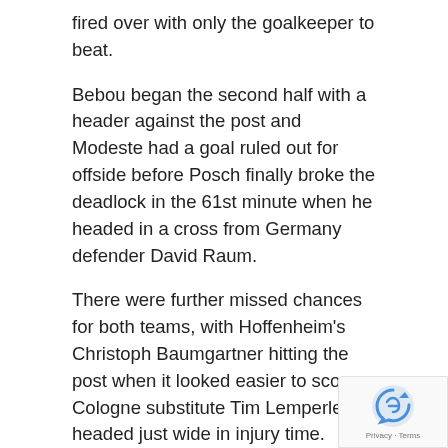fired over with only the goalkeeper to beat.
Bebou began the second half with a header against the post and Modeste had a goal ruled out for offside before Posch finally broke the deadlock in the 61st minute when he headed in a cross from Germany defender David Raum.
There were further missed chances for both teams, with Hoffenheim's Christoph Baumgartner hitting the post when it looked easier to score. Cologne substitute Tim Lemperle headed just wide in injury time.
The scheduled earlier game between second-placed Borussia Dortmund and Mainz was postponed on Friday to March 16 due to a coronavirus outbreak at home team Mainz.